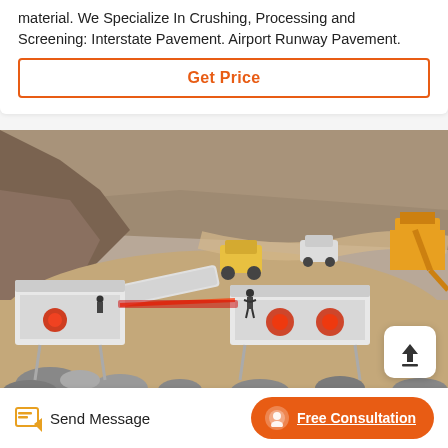material. We Specialize In Crushing, Processing and Screening: Interstate Pavement. Airport Runway Pavement.
Get Price
[Figure (photo): Aerial view of a quarry/mining site with mobile crushing and screening equipment, conveyor belts, excavators, and loaders operating on a large open-pit area with rocky terrain and earthen slopes.]
Send Message
Free Consultation